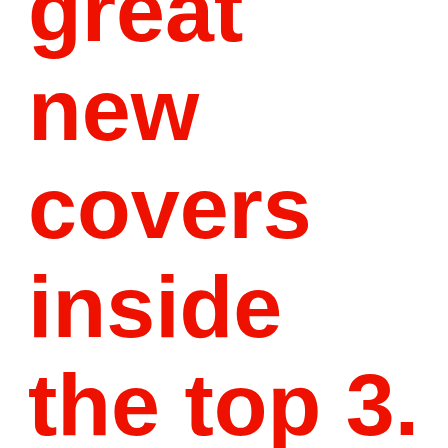great new covers inside the top 3. It Looks like 2013 will be